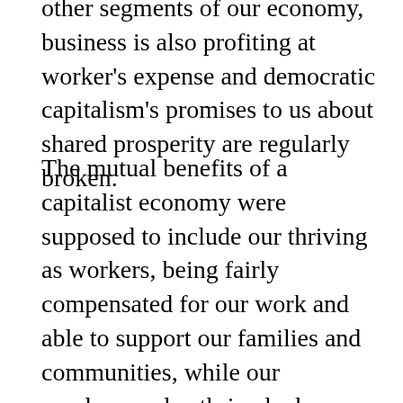other segments of our economy, business is also profiting at worker's expense and democratic capitalism's promises to us about shared prosperity are regularly broken.
The mutual benefits of a capitalist economy were supposed to include our thriving as workers, being fairly compensated for our work and able to support our families and communities, while our employers also thrived when we used our paychecks to buy their goods and services. That virtuous circle has been the bedrock of capitalism's social contract since Adam Smith first described it 300 years ago.